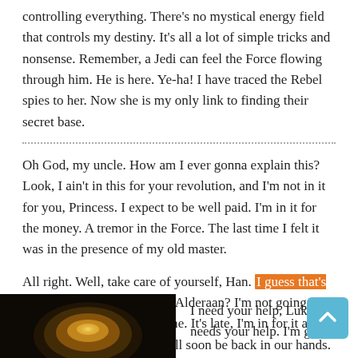controlling everything. There's no mystical energy field that controls my destiny. It's all a lot of simple tricks and nonsense. Remember, a Jedi can feel the Force flowing through him. He is here. Ye-ha! I have traced the Rebel spies to her. Now she is my only link to finding their secret base.
Oh God, my uncle. How am I ever gonna explain this? Look, I ain't in this for your revolution, and I'm not in it for you, Princess. I expect to be well paid. I'm in it for the money. A tremor in the Force. The last time I felt it was in the presence of my old master.
All right. Well, take care of yourself, Han. I guess that's what you're best at, ain't it? Alderaan? I'm not going to Alderaan. I've got to go home. It's late, I'm in for it as it is. The plans you refer to will soon be back in our hands.
[Figure (photo): Dark photo, appears to show a circular golden/brown object against a dark background]
I need your help, Luke. She needs your help. I'm getting